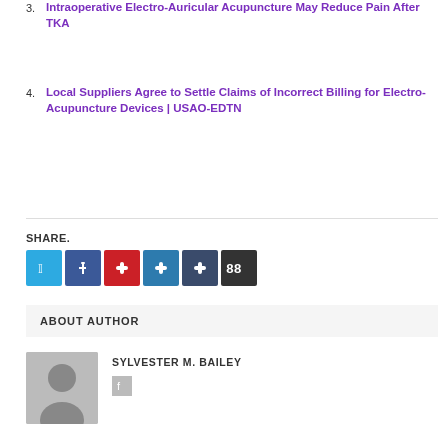3. Intraoperative Electro-Auricular Acupuncture May Reduce Pain After TKA
4. Local Suppliers Agree to Settle Claims of Incorrect Billing for Electro-Acupuncture Devices | USAO-EDTN
SHARE.
ABOUT AUTHOR
SYLVESTER M. BAILEY